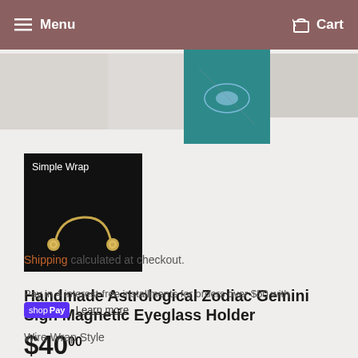Menu   Cart
[Figure (photo): Product image thumbnails — teal background photo of eyeglasses/jewelry and gray placeholder images]
[Figure (photo): Thumbnail: Simple Wrap style — gold wire wrap ring on black background with label 'Simple Wrap']
Handmade Astrological Zodiac Gemini Sign Magnetic Eyeglass Holder
$40.00
Shipping calculated at checkout.
Pay in 4 interest-free installments for orders over $50 with shop Pay Learn more
Wire Wrap Style